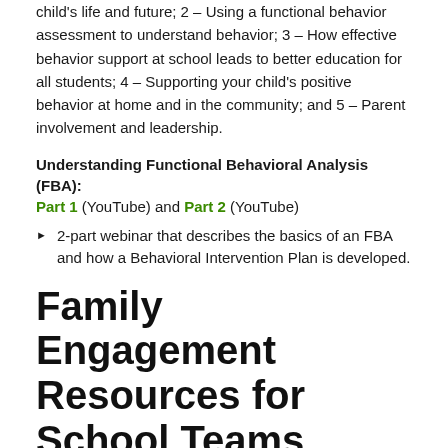child's life and future; 2 – Using a functional behavior assessment to understand behavior; 3 – How effective behavior support at school leads to better education for all students; 4 – Supporting your child's positive behavior at home and in the community; and 5 – Parent involvement and leadership.
Understanding Functional Behavioral Analysis (FBA): Part 1 (YouTube) and Part 2 (YouTube)
2-part webinar that describes the basics of an FBA and how a Behavioral Intervention Plan is developed.
Family Engagement Resources for School Teams
Family Engagement Modules for PBIS Schools